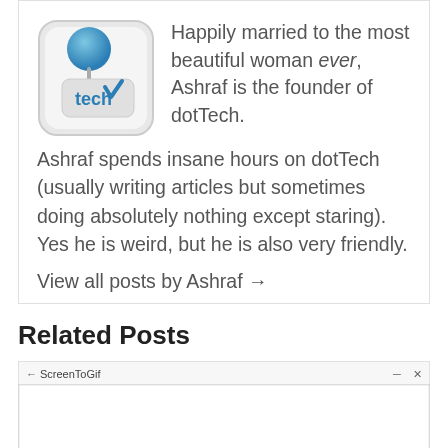Happily married to the most beautiful woman ever, Ashraf is the founder of dotTech. Ashraf spends insane hours on dotTech (usually writing articles but sometimes doing absolutely nothing except staring). Yes he is weird, but he is also very friendly.
View all posts by Ashraf →
Related Posts
[Figure (screenshot): Screenshot of ScreenToGif application window showing recording interface]
Review
How to record your desktop screen, edit and export like a